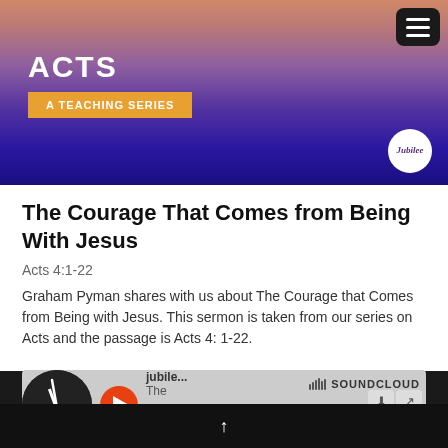[Figure (illustration): Banner image of mountain at sunset/dusk with purple-to-orange gradient overlay. Text reads ACTS and A TEACHING SERIES with a Jubilee church logo circle in lower right. Hamburger menu icon in upper right corner.]
The Courage That Comes from Being With Jesus
Acts 4:1-22
Graham Pyman shares with us about The Courage that Comes from Being with Jesus. This sermon is taken from our series on Acts and the passage is Acts 4: 1-22.
[Figure (screenshot): SoundCloud audio player widget showing vinyl disc graphic, orange play button, track info for Jubilee... The..., SoundCloud logo, download and share buttons, and orange progress bar at bottom.]